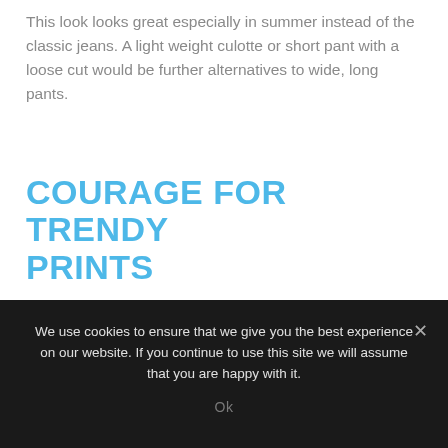This look looks great especially in summer instead of the classic jeans. A light weight culotte or short pant with a loose cut would be further alternatives to wide, long pants.
COURAGE FOR TRENDY PRINTS
Focus on fashionable long blouses with a chic pattern. This can be a flower or a snake pattern, for
We use cookies to ensure that we give you the best experience on our website. If you continue to use this site we will assume that you are happy with it.
Ok